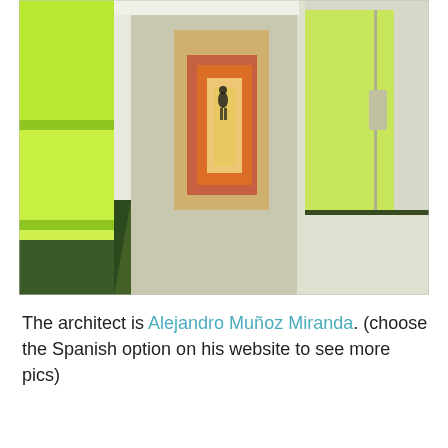[Figure (photo): A colorful corridor with bright green walls and windows on the left, white walls and a door on the right, with a silhouette of a person visible at the far end. The corridor floor is dark with green-lit rectangular patches of light. Orange and red colored doorways are visible in the background creating a perspective view.]
The architect is Alejandro Muñoz Miranda. (choose the Spanish option on his website to see more pics)